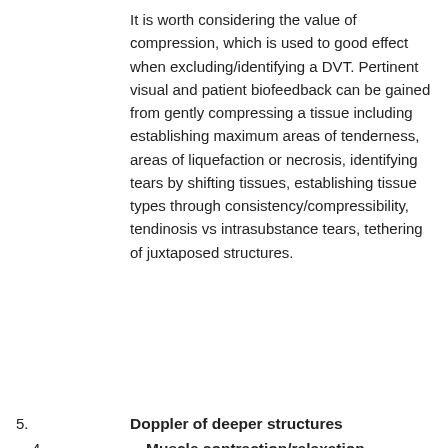It is worth considering the value of compression, which is used to good effect when excluding/identifying a DVT. Pertinent visual and patient biofeedback can be gained from gently compressing a tissue including establishing maximum areas of tenderness, areas of liquefaction or necrosis, identifying tears by shifting tissues, establishing tissue types through consistency/compressibility, tendinosis vs intrasubstance tears, tethering of juxtaposed structures.
4. Muscle contraction/relaxation
Passive movement of a joint is well utilised to assess the integrity of a muscle or connective tissue in MSK ultrasound. Less well utilised but often very helpful, is the use of active isometric contraction which can make a tear appear more conspicuous, particularly where there is partial detachment of muscle from the adjacent fascia or intramuscular aponeurosis.
5. Doppler of deeper structures